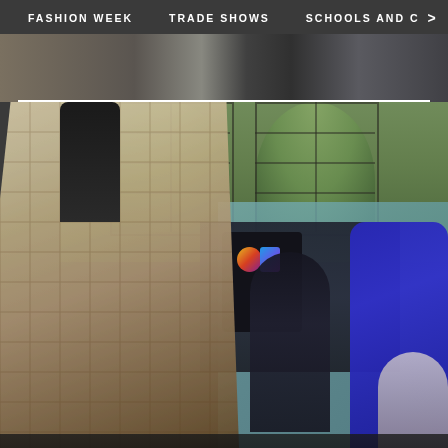FASHION WEEK   TRADE SHOWS   SCHOOLS AND C >
[Figure (photo): Partial top strip showing a fashion-related scene, partially cropped at the top of the page]
[Figure (photo): Interior fashion studio or trade show space showing: a plaid/checked suit jacket on a mannequin in the foreground left, a blue garment on a mannequin in the middle, a person (back facing) between the mannequins, arched gothic-style windows with greenery visible outside in the background, and a teal/light blue wall on the right side. A colorful logo or display board is visible in the background.]